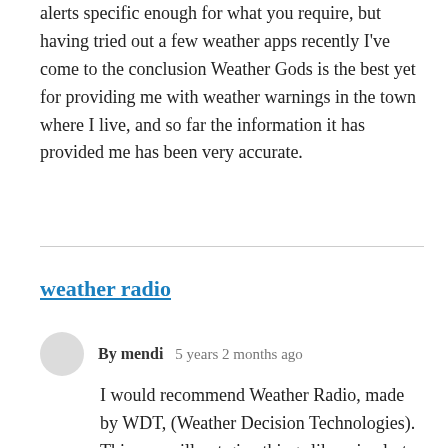alerts specific enough for what you require, but having tried out a few weather apps recently I've come to the conclusion Weather Gods is the best yet for providing me with weather warnings in the town where I live, and so far the information it has provided me has been very accurate.
weather radio
By mendi   5 years 2 months ago
I would recommend Weather Radio, made by WDT, (Weather Decision Technologies). This one will not give things like rain alerts, but for major events like storms, it uses your location